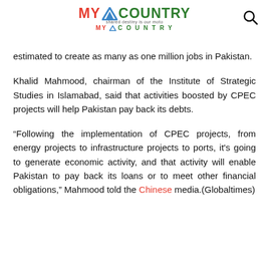MY COUNTRY — shared destiny is our motto
estimated to create as many as one million jobs in Pakistan.
Khalid Mahmood, chairman of the Institute of Strategic Studies in Islamabad, said that activities boosted by CPEC projects will help Pakistan pay back its debts.
“Following the implementation of CPEC projects, from energy projects to infrastructure projects to ports, it’s going to generate economic activity, and that activity will enable Pakistan to pay back its loans or to meet other financial obligations,” Mahmood told the Chinese media.(Globaltimes)